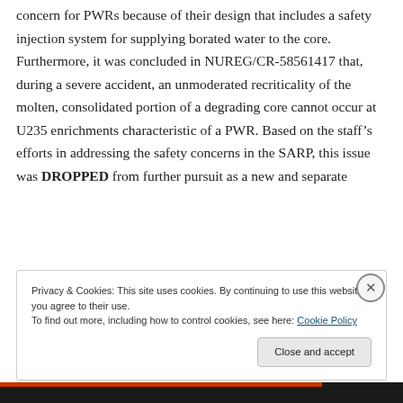concern for PWRs because of their design that includes a safety injection system for supplying borated water to the core. Furthermore, it was concluded in NUREG/CR-58561417 that, during a severe accident, an unmoderated recriticality of the molten, consolidated portion of a degrading core cannot occur at U235 enrichments characteristic of a PWR. Based on the staff's efforts in addressing the safety concerns in the SARP, this issue was DROPPED from further pursuit as a new and separate
Privacy & Cookies: This site uses cookies. By continuing to use this website, you agree to their use.
To find out more, including how to control cookies, see here: Cookie Policy